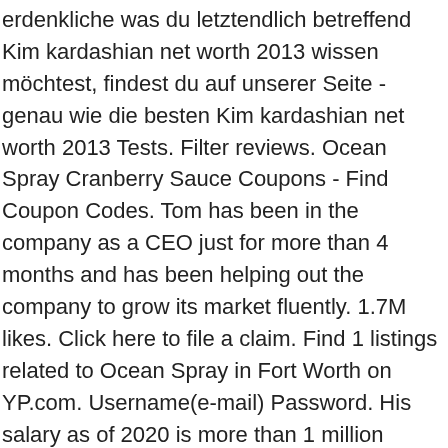erdenkliche was du letztendlich betreffend Kim kardashian net worth 2013 wissen möchtest, findest du auf unserer Seite - genau wie die besten Kim kardashian net worth 2013 Tests. Filter reviews. Ocean Spray Cranberry Sauce Coupons - Find Coupon Codes. Tom has been in the company as a CEO just for more than 4 months and has been helping out the company to grow its market fluently. 1.7M likes. Click here to file a claim. Find 1 listings related to Ocean Spray in Fort Worth on YP.com. Username(e-mail) Password. His salary as of 2020 is more than 1 million dollars as previously it was around 900 thousand dollars. 41. Did we just become best friends? Ocean Spray is a famous American agriculture company that grows cranberries and grapes and usually make cranberry sauce, dried cranberries, and fruit juices. Tom Hayes started his professional career in 2001 when he worked at ConAgra Foods where he was SVP Sales and Marketing Manager. Offering a night club, loungers and a golf course, Ocean Spray Hotel is 25 minutes' walk from Holocaust Memorial. We're proud to be grower owned since 1930. Building on the wildly